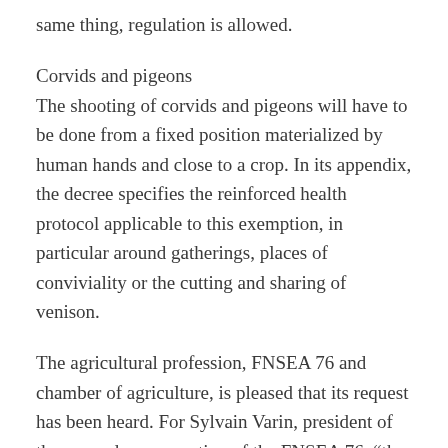same thing, regulation is allowed.
Corvids and pigeons
The shooting of corvids and pigeons will have to be done from a fixed position materialized by human hands and close to a crop. In its appendix, the decree specifies the reinforced health protocol applicable to this exemption, in particular around gatherings, places of conviviality or the cutting and sharing of venison.
The agricultural profession, FNSEA 76 and chamber of agriculture, is pleased that its request has been heard. For Sylvain Varin, president of the game damage section of the FNSEA 76, “the consequences of several weeks without sampling would have